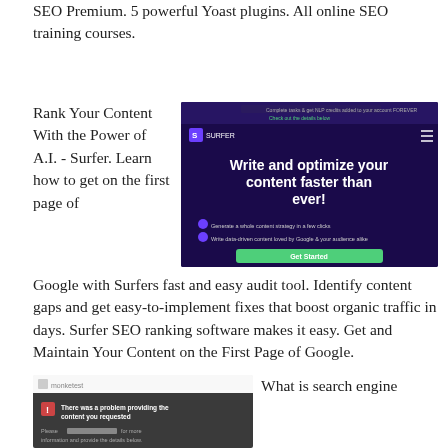SEO Premium. 5 powerful Yoast plugins. All online SEO training courses.
Rank Your Content With the Power of A.I. - Surfer. Learn how to get on the first page of Google with Surfers fast and easy audit tool. Identify content gaps and get easy-to-implement fixes that boost organic traffic in days. Surfer SEO ranking software makes it easy. Get and Maintain Your Content on the First Page of Google.
[Figure (screenshot): Screenshot of Surfer SEO website with dark purple background showing 'Write and optimize your content faster than ever!' headline with bullet points and a green CTA button]
[Figure (screenshot): Screenshot of a webpage showing an error message: 'There was a problem providing the content you requested']
What is search engine